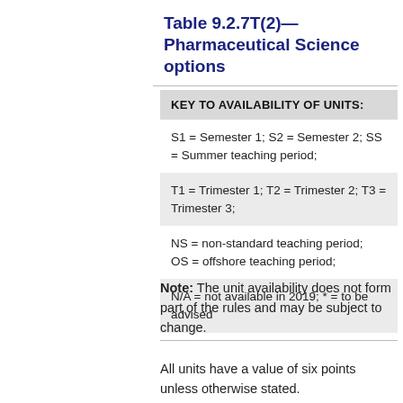Table 9.2.7T(2)—Pharmaceutical Science options
| KEY TO AVAILABILITY OF UNITS: |
| --- |
| S1 = Semester 1; S2 = Semester 2; SS = Summer teaching period; |
| T1 = Trimester 1; T2 = Trimester 2; T3 = Trimester 3; |
| NS = non-standard teaching period; OS = offshore teaching period; |
| N/A = not available in 2019; * = to be advised |
Note: The unit availability does not form part of the rules and may be subject to change.
All units have a value of six points unless otherwise stated.